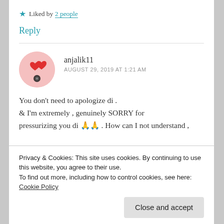★ Liked by 2 people
Reply
anjalik11
AUGUST 29, 2019 AT 1:21 AM
You don't need to apologize di .
& I'm extremely , genuinely SORRY for pressurizing you di 🙏🙏 . How can I not understand ,
Privacy & Cookies: This site uses cookies. By continuing to use this website, you agree to their use.
To find out more, including how to control cookies, see here: Cookie Policy